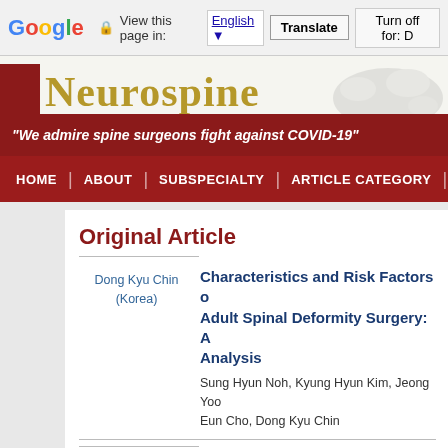Google | View this page in: English | Translate | Turn off for: D
[Figure (screenshot): Neurospine journal website header with red block logo, gold Neurospine title, COVID-19 banner, and dark red navigation bar with HOME, ABOUT, SUBSPECIALTY, ARTICLE CATEGORY, BR menu items]
Original Article
Dong Kyu Chin (Korea)
Characteristics and Risk Factors of Adult Spinal Deformity Surgery: A Analysis
Sung Hyun Noh, Kyung Hyun Kim, Jeong Yoo, Eun Cho, Dong Kyu Chin
Junseok Bae (Korea)
Editorial:
Commentary on